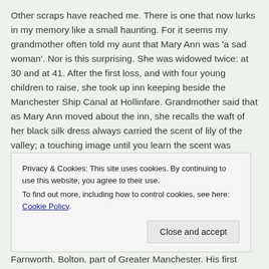Other scraps have reached me. There is one that now lurks in my memory like a small haunting. For it seems my grandmother often told my aunt that Mary Ann was 'a sad woman'. Nor is this surprising. She was widowed twice: at 30 and at 41. After the first loss, and with four young children to raise, she took up inn keeping beside the Manchester Ship Canal at Hollinfare. Grandmother said that as Mary Ann moved about the inn, she recalls the waft of her black silk dress always carried the scent of lily of the valley; a touching image until you learn the scent was dabbed on to cover the smell of gin.
But before the sorrow, I have a sense that, as a young woman. Mary Ann was headstrong and passionate.
Privacy & Cookies: This site uses cookies. By continuing to use this website, you agree to their use.
To find out more, including how to control cookies, see here: Cookie Policy
Close and accept
Farnworth. Bolton. part of Greater Manchester. His first